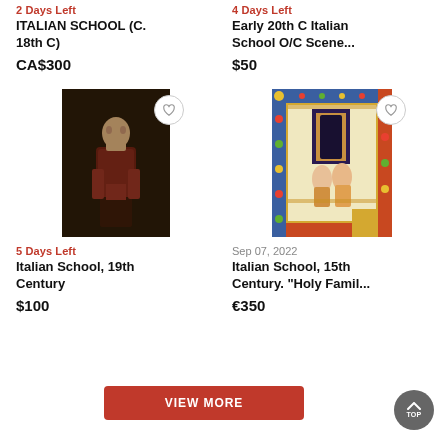2 Days Left
ITALIAN SCHOOL (C. 18th C)
CA$300
4 Days Left
Early 20th C Italian School O/C Scene...
$50
[Figure (photo): Portrait painting of a man in dark clothing against dark background, 19th century Italian school style]
[Figure (photo): Illuminated manuscript page with ornate colorful border decoration, Italian school 15th century, Holy Family subject]
5 Days Left
Italian School, 19th Century
$100
Sep 07, 2022
Italian School, 15th Century. "Holy Famil...
€350
VIEW MORE